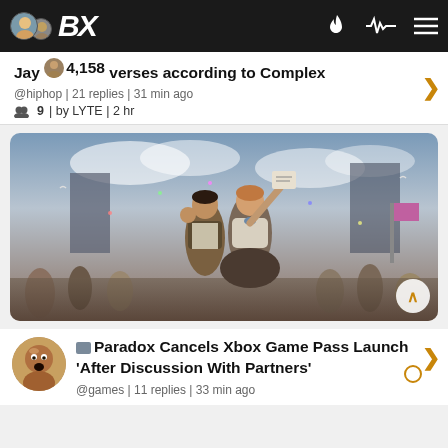BX
Jay 4,158 verses according to Complex
@hiphop | 21 replies | 31 min ago
9 | by LYTE | 2 hr
[Figure (illustration): Digital painting of a man and woman celebrating in a crowd, woman holds up a newspaper, historical/revolutionary style artwork]
Paradox Cancels Xbox Game Pass Launch 'After Discussion With Partners'
@games | 11 replies | 33 min ago